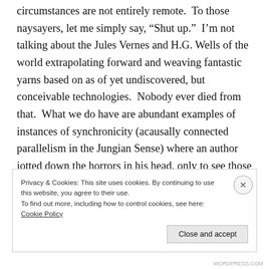circumstances are not entirely remote.  To those naysayers, let me simply say, “Shut up.”  I’m not talking about the Jules Vernes and H.G. Wells of the world extrapolating forward and weaving fantastic yarns based on as of yet undiscovered, but conceivable technologies.  Nobody ever died from that.  What we do have are abundant examples of instances of synchronicity (acausally connected parallelism in the Jungian Sense) where an author jotted down the horrors in his head, only to see those same horrors visited upon reality.
Privacy & Cookies: This site uses cookies. By continuing to use this website, you agree to their use.
To find out more, including how to control cookies, see here: Cookie Policy
Close and accept
WORDPRESS.COM